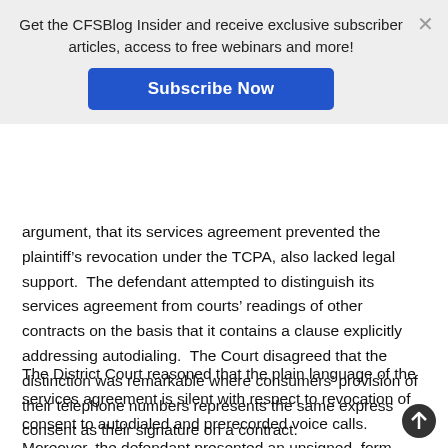[Figure (infographic): Subscription banner overlay with gray background, text 'Get the CFSBlog Insider and receive exclusive subscriber articles, access to free webinars and more!', a blue 'Subscribe Now' button, and an X close button.]
argument, that its services agreement prevented the plaintiff's revocation under the TCPA, also lacked legal support.  The defendant attempted to distinguish its services agreement from courts' readings of other contracts on the basis that it contains a clause explicitly addressing autodialing.  The Court disagreed that the distinction was remarkable where consumers' provision of their telephone numbers represents the same express consent as their signature on a contract.
The District Court reasoned that the plain language of the services agreement is silent with respect to revocation of consent to autodialed and prerecorded voice calls.  Moreover, the defendant presented an unsigned, form copy of the agreement, which it uses